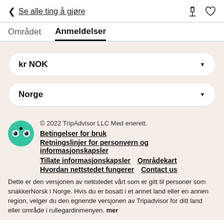< Se alle ting å gjøre
Området   Anmeldelser
kr NOK
Norge
© 2022 TripAdvisor LLC Med enerett.
Betingelser for bruk
Retningslinjer for personvern og informasjonskapsler
Tillate informasjonskapsler    Områdekart
Hvordan nettstedet fungerer    Contact us
Dette er den versjonen av nettstedet vårt som er gitt til personer som snakkerNorsk i Norge. Hvis du er bosatt i et annet land eller en annen region, velger du den egnende versjonen av Tripadvisor for ditt land eller område i rullegardinmenyen. mer